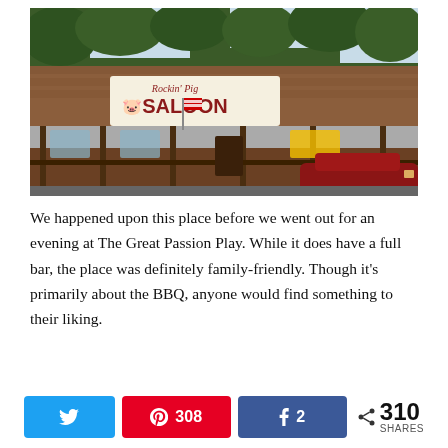[Figure (photo): Exterior of Rockin' Pig Saloon restaurant, a brick building with a large sign reading 'Rockin' Pig SALOON', porch with railing, trees behind, and a red vehicle parked in front.]
We happened upon this place before we went out for an evening at The Great Passion Play. While it does have a full bar, the place was definitely family-friendly. Though it's primarily about the BBQ, anyone would find something to their liking.
Tweet | 308 | 2 | < 310 SHARES